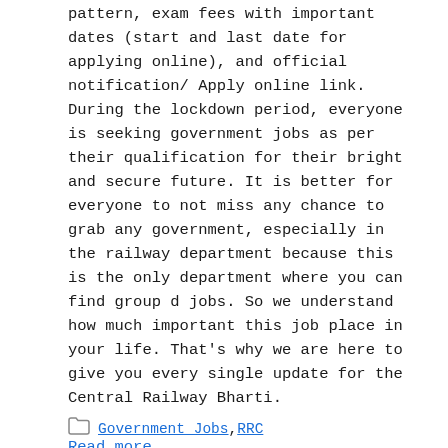pattern, exam fees with important dates (start and last date for applying online), and official notification/ Apply online link. During the lockdown period, everyone is seeking government jobs as per their qualification for their bright and secure future. It is better for everyone to not miss any chance to grab any government, especially in the railway department because this is the only department where you can find group d jobs. So we understand how much important this job place in your life. That's why we are here to give you every single update for the Central Railway Bharti.
Read more
Government Jobs, RRC